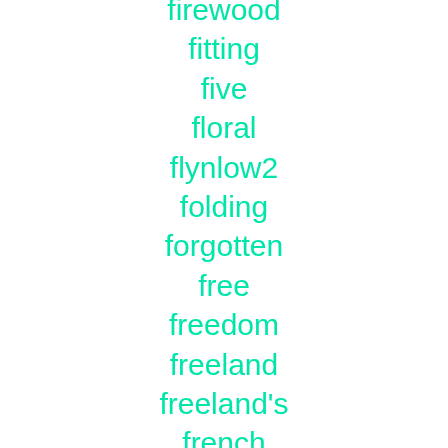firewood
fitting
five
floral
flynlow2
folding
forgotten
free
freedom
freeland
freeland's
french